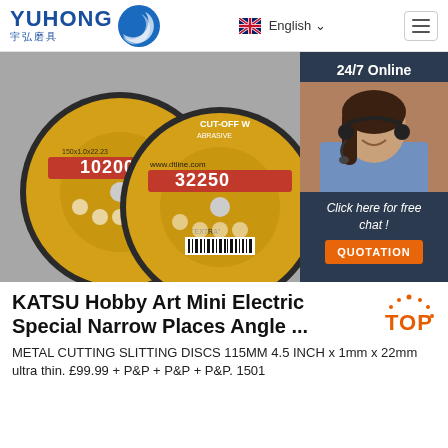YUHONG 宇弘磨具 | English
[Figure (photo): Product photo showing two yellow and black abrasive cutting discs/wheels (metal cutting slitting discs), with labels showing '10200' and '32250', and a website URL 'www.dtline.com'. An overlay chat widget on the right shows a customer service representative with headset, '24/7 Online' text, 'Click here for free chat!' text, and an orange 'QUOTATION' button.]
KATSU Hobby Art Mini Electric Special Narrow Places Angle ...
METAL CUTTING SLITTING DISCS 115MM 4.5 INCH x 1mm x 22mm ultra thin. £99.99 + P&P + P&P + P&P. 1501